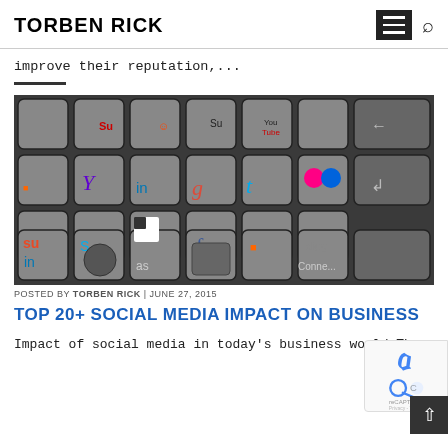TORBEN RICK
improve their reputation,...
[Figure (photo): Keyboard with social media platform logos on the keys including LinkedIn, Twitter, Facebook, Google, YouTube, Reddit, Skype, Flickr, Digg, and others]
POSTED BY TORBEN RICK | JUNE 27, 2015
TOP 20+ SOCIAL MEDIA IMPACT ON BUSINESS
Impact of social media in today's business world The